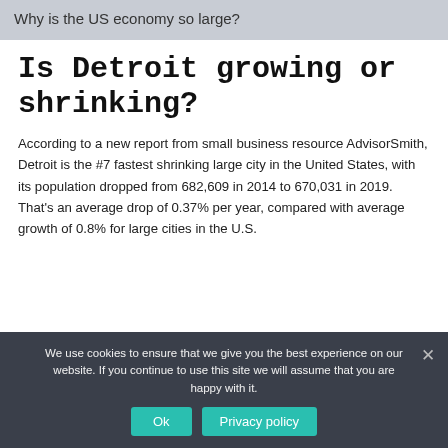Why is the US economy so large?
Is Detroit growing or shrinking?
According to a new report from small business resource AdvisorSmith, Detroit is the #7 fastest shrinking large city in the United States, with its population dropped from 682,609 in 2014 to 670,031 in 2019. That's an average drop of 0.37% per year, compared with average growth of 0.8% for large cities in the U.S.
We use cookies to ensure that we give you the best experience on our website. If you continue to use this site we will assume that you are happy with it.